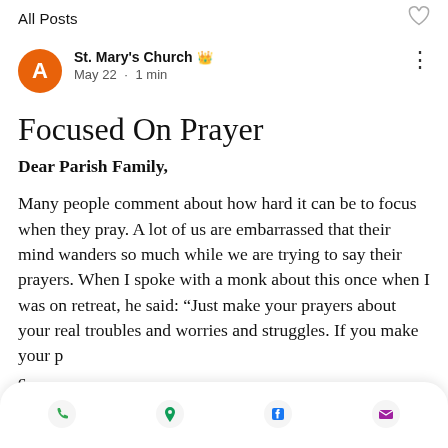All Posts
St. Mary's Church 👑
May 22 · 1 min
Focused On Prayer
Dear Parish Family,

Many people comment about how hard it can be to focus when they pray. A lot of us are embarrassed that their mind wanders so much while we are trying to say their prayers. When I spoke with a monk about this once when I was on retreat, he said: “Just make your prayers about your real troubles and worries and struggles. If you make your p c